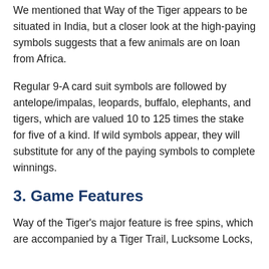We mentioned that Way of the Tiger appears to be situated in India, but a closer look at the high-paying symbols suggests that a few animals are on loan from Africa.
Regular 9-A card suit symbols are followed by antelope/impalas, leopards, buffalo, elephants, and tigers, which are valued 10 to 125 times the stake for five of a kind. If wild symbols appear, they will substitute for any of the paying symbols to complete winnings.
3. Game Features
Way of the Tiger's major feature is free spins, which are accompanied by a Tiger Trail, Lucksome Locks,